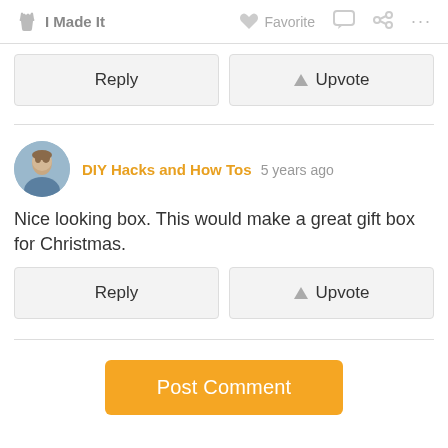I Made It  Favorite  ...
[Figure (illustration): Reply and Upvote buttons (first set)]
[Figure (illustration): User avatar photo of DIY Hacks and How Tos commenter]
DIY Hacks and How Tos 5 years ago
Nice looking box. This would make a great gift box for Christmas.
[Figure (illustration): Reply and Upvote buttons (second set)]
[Figure (illustration): Post Comment button]